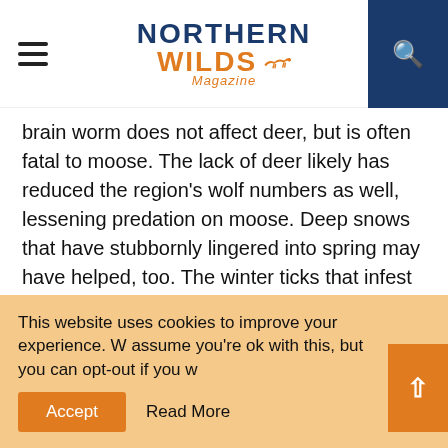Northern Wilds Magazine
brain worm does not affect deer, but is often fatal to moose. The lack of deer likely has reduced the region's wolf numbers as well, lessening predation on moose. Deep snows that have stubbornly lingered into spring may have helped, too. The winter ticks that infest moose and fall off them in the early spring have poor survival when deep snow covers the ground.

In addition to less predators and parasites, moose may have had more habitat. Large forest disturbances created by wildfires and timber
This website uses cookies to improve your experience. We assume you're ok with this, but you can opt-out if you wish. Accept Read More